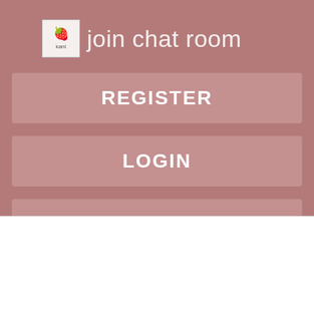join chat room
REGISTER
LOGIN
CONTACT US
Relation Type:
Bbw Gir Searching Japanese Women For Sex
Views: 1193
[Figure (screenshot): Social sharing buttons: Reddit, Tweet, Pin it; and a comment icon]